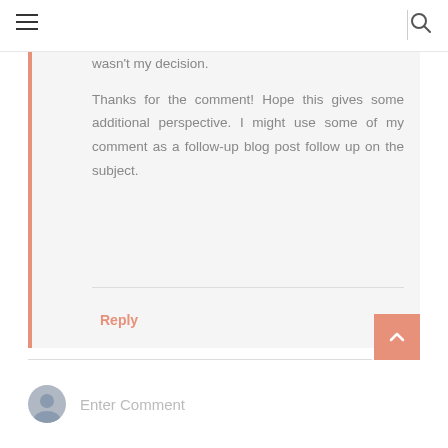≡  |  🔍
wasn't my decision.

Thanks for the comment! Hope this gives some additional perspective. I might use some of my comment as a follow-up blog post follow up on the subject.
Reply
Enter Comment